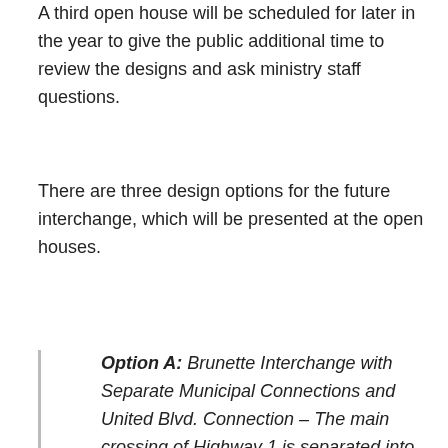A third open house will be scheduled for later in the year to give the public additional time to review the designs and ask ministry staff questions.
There are three design options for the future interchange, which will be presented at the open houses.
Option A: Brunette Interchange with Separate Municipal Connections and United Blvd. Connection – The main crossing of Highway 1 is separated into two corridors – a two- lane corridor for local traffic and a